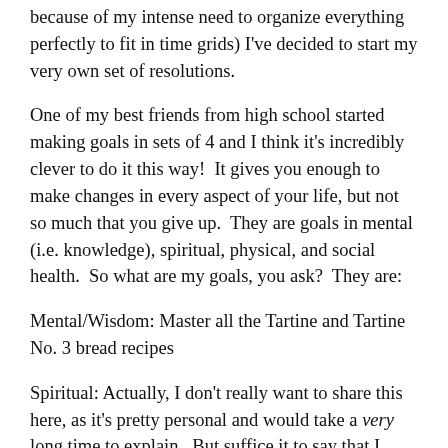because of my intense need to organize everything perfectly to fit in time grids) I've decided to start my very own set of resolutions.
One of my best friends from high school started making goals in sets of 4 and I think it's incredibly clever to do it this way!  It gives you enough to make changes in every aspect of your life, but not so much that you give up.  They are goals in mental (i.e. knowledge), spiritual, physical, and social health.  So what are my goals, you ask?  They are:
Mental/Wisdom: Master all the Tartine and Tartine No. 3 bread recipes
Spiritual: Actually, I don't really want to share this here, as it's pretty personal and would take a very long time to explain.  But suffice it to say that I have one!
Physical: The one who said "Get Healthy" but I actually...